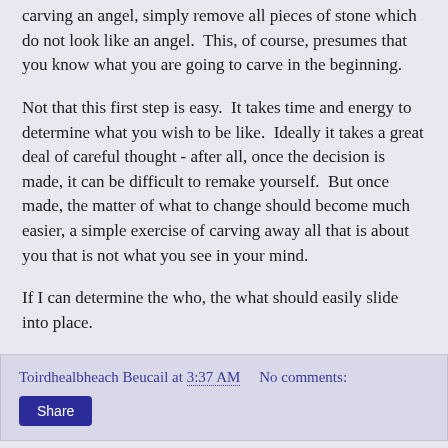carving an angel, simply remove all pieces of stone which do not look like an angel.  This, of course, presumes that you know what you are going to carve in the beginning.
Not that this first step is easy.  It takes time and energy to determine what you wish to be like.  Ideally it takes a great deal of careful thought - after all, once the decision is made, it can be difficult to remake yourself.  But once made, the matter of what to change should become much easier, a simple exercise of carving away all that is about you that is not what you see in your mind.
If I can determine the who, the what should easily slide into place.
Toirdhealbheach Beucail at 3:37 AM    No comments:
Share
Friday, July 12, 2013
Computer Problems